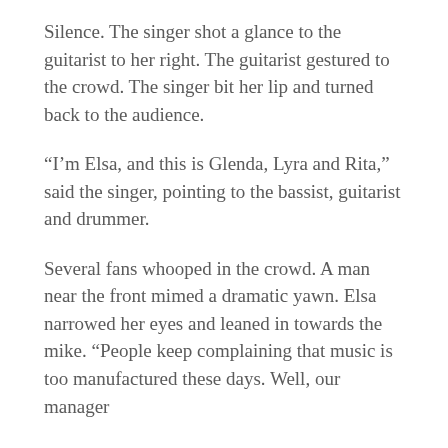Silence. The singer shot a glance to the guitarist to her right. The guitarist gestured to the crowd. The singer bit her lip and turned back to the audience.
“I’m Elsa, and this is Glenda, Lyra and Rita,” said the singer, pointing to the bassist, guitarist and drummer.
Several fans whooped in the crowd. A man near the front mimed a dramatic yawn. Elsa narrowed her eyes and leaned in towards the mike. “People keep complaining that music is too manufactured these days. Well, our manager